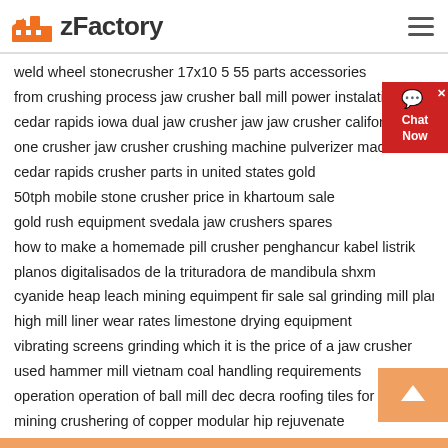zFactory
weld wheel stonecrusher 17x10 5 55 parts accessories
from crushing process jaw crusher ball mill power instalation
cedar rapids iowa dual jaw crusher jaw jaw crusher california
one crusher jaw crusher crushing machine pulverizer machine
cedar rapids crusher parts in united states gold
50tph mobile stone crusher price in khartoum sale
gold rush equipment svedala jaw crushers spares
how to make a homemade pill crusher penghancur kabel listrik
planos digitalisados de la trituradora de mandibula shxm
cyanide heap leach mining equimpent fir sale sal grinding mill plant
high mill liner wear rates limestone drying equipment
vibrating screens grinding which it is the price of a jaw crusher
used hammer mill vietnam coal handling requirements
operation operation of ball mill dec decra roofing tiles for sale kenya
mining crushering of copper modular hip rejuvenate
used rocklabs sepor standard ring mill grinding machine sets
eaec pedestal grinding machines limestone crusher and screening